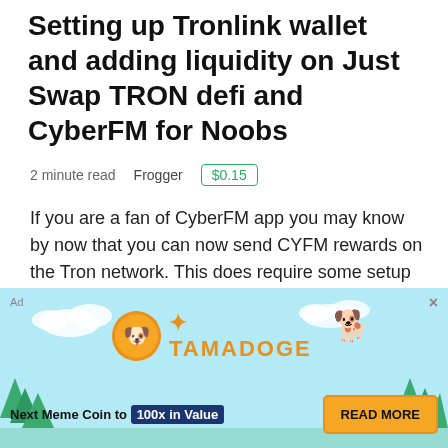Setting up Tronlink wallet and adding liquidity on Just Swap TRON defi and CyberFM for Noobs
2 minute read   Frogger   $0.15
If you are a fan of CyberFM app you may know by now that you can now send CYFM rewards on the Tron network. This does require some setup before you will be eligible to earn.  Going into this, I knew nothing at all about the Tron network, or wallet. H...
[Figure (screenshot): Screenshot of a web page with a blue background and white card showing partial text starting with 'D']
[Figure (infographic): Tamadoge advertisement banner with light blue sky background, Tamadoge logo with coin and dog mascot, tagline 'Next Meme Coin to 100x in Value' with a READ MORE button]